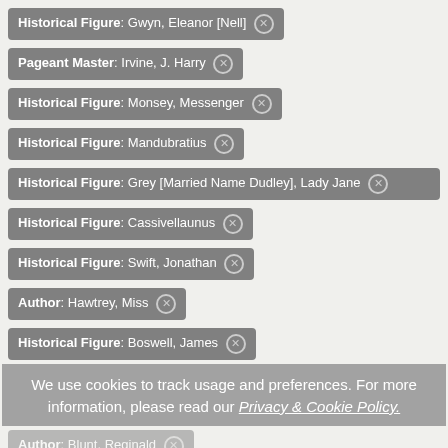Historical Figure: Gwyn, Eleanor [Nell] ✕
Pageant Master: Irvine, J. Harry ✕
Historical Figure: Monsey, Messenger ✕
Historical Figure: Mandubratius ✕
Historical Figure: Grey [Married Name Dudley], Lady Jane ✕
Historical Figure: Cassivellaunus ✕
Historical Figure: Swift, Jonathan ✕
Author: Hawtrey, Miss ✕
Historical Figure: Boswell, James ✕
Author: Blunt, Reginald ✕
We use cookies to track usage and preferences. For more information, please read our Privacy & Cookie Policy.
Date(s)
From
1908
1908